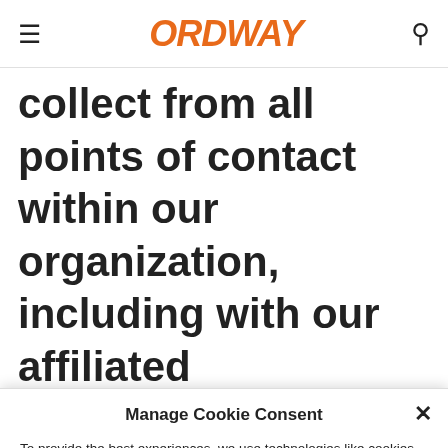ORDWAY
collect from all points of contact within our organization, including with our affiliated companies. The information you
Manage Cookie Consent
To provide the best experiences, we use technologies like cookies to store and/or access device information. Consenting to these technologies will allow us to process data such as browsing behavior or unique IDs on this site. Not consenting or withdrawing consent, may adversely affect certain features and functions.
Accept
Cookie Policy  Privacy Statement